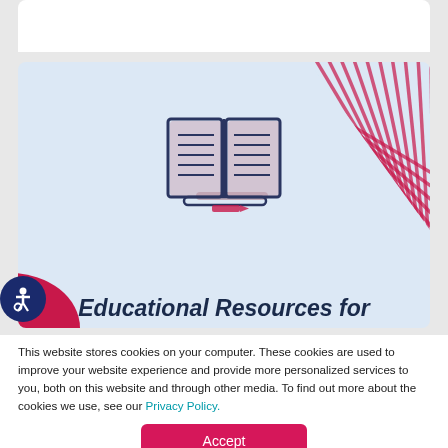[Figure (illustration): Light blue card with an open book icon illustration in navy/dark blue, with diagonal pink/crimson stripe decoration in the top-right corner and a pink blob in the bottom-left corner.]
Educational Resources for
This website stores cookies on your computer. These cookies are used to improve your website experience and provide more personalized services to you, both on this website and through other media. To find out more about the cookies we use, see our Privacy Policy.